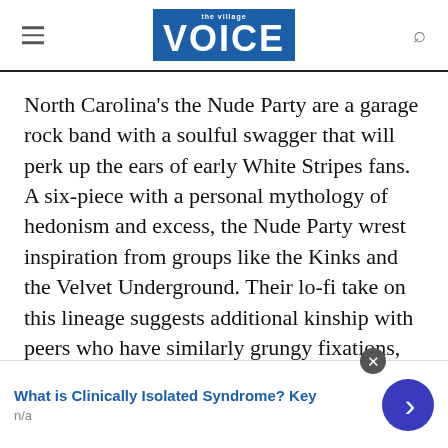the village VOICE
North Carolina’s the Nude Party are a garage rock band with a soulful swagger that will perk up the ears of early White Stripes fans. A six-piece with a personal mythology of hedonism and excess, the Nude Party wrest inspiration from groups like the Kinks and the Velvet Underground. Their lo-fi take on this lineage suggests additional kinship with peers who have similarly grungy fixations, like Ty Segall and White Fence. Their most recent
What is Clinically Isolated Syndrome? Key
n/a